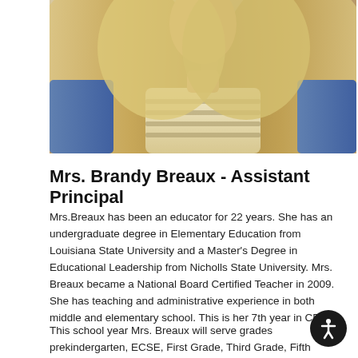[Figure (photo): Photo of Mrs. Brandy Breaux showing blonde hair, striped top, and blue jacket background]
Mrs. Brandy Breaux - Assistant Principal
Mrs.Breaux has been an educator for 22 years. She has an undergraduate degree in Elementary Education from Louisiana State University and a Master's Degree in Educational Leadership from Nicholls State University. Mrs. Breaux became a National Board Certified Teacher in 2009. She has teaching and administrative experience in both middle and elementary school. This is her 7th year in CFISD.
This school year Mrs. Breaux will serve grades prekindergarten, ECSE, First Grade, Third Grade, Fifth Grade. Please contact M...